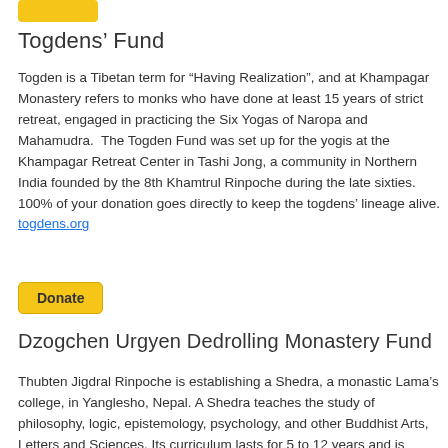[Figure (other): Partial yellow donate button visible at top]
Togdens' Fund
Togden is a Tibetan term for “Having Realization”, and at Khampagar Monastery refers to monks who have done at least 15 years of strict retreat, engaged in practicing the Six Yogas of Naropa and Mahamudra.  The Togden Fund was set up for the yogis at the Khampagar Retreat Center in Tashi Jong, a community in Northern India founded by the 8th Khamtrul Rinpoche during the late sixties. 100% of your donation goes directly to keep the togdens’ lineage alive. togdens.org
[Figure (other): Yellow Donate button with bold black text]
Dzogchen Urgyen Dedrolling Monastery Fund
Thubten Jigdral Rinpoche is establishing a Shedra, a monastic Lama’s college, in Yanglesho, Nepal. A Shedra teaches the study of philosophy, logic, epistemology, psychology, and other Buddhist Arts, Letters and Sciences. Its curriculum lasts for 5 to 12 years and is similar to obtaining a secondary education diploma as well as a Bachelor’s Degree. Such training is a necessary preparation for more advanced degrees, such as becoming a Khenpo, or doctor of Buddhist Philosophy, Yoga and Internal Energetic Arts & Sciences; or for doing a retreat or higher learning in the Ritual Arts and Sciences.